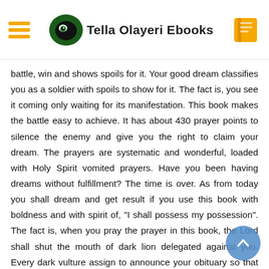Tella Olayeri Ebooks
battle, win and shows spoils for it. Your good dream classifies you as a soldier with spoils to show for it. The fact is, you see it coming only waiting for its manifestation. This book makes the battle easy to achieve. It has about 430 prayer points to silence the enemy and give you the right to claim your dream. The prayers are systematic and wonderful, loaded with Holy Spirit vomited prayers. Have you been having dreams without fulfillment? The time is over. As from today you shall dream and get result if you use this book with boldness and with spirit of, "I shall possess my possession". The fact is, when you pray the prayer in this book, the Lord shall shut the mouth of dark lion delegated against you. Every dark vulture assign to announce your obituary so that you might not be celebrated when the good dreams manifest shall be found no more. Amen. There is assurance of the Lord upon your life. You shall labour and reap bountifully. Your good dream shall